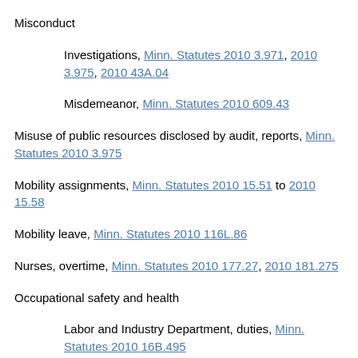Misconduct
Investigations, Minn. Statutes 2010 3.971, 2010 3.975, 2010 43A.04
Misdemeanor, Minn. Statutes 2010 609.43
Misuse of public resources disclosed by audit, reports, Minn. Statutes 2010 3.975
Mobility assignments, Minn. Statutes 2010 15.51 to 2010 15.58
Mobility leave, Minn. Statutes 2010 116L.86
Nurses, overtime, Minn. Statutes 2010 177.27, 2010 181.275
Occupational safety and health
Labor and Industry Department, duties, Minn. Statutes 2010 16B.495
Preventive health services program, Minn. Statutes 2010